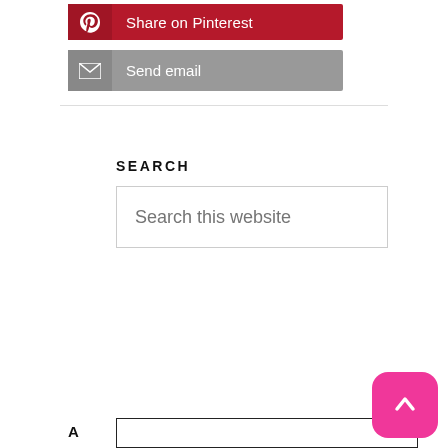[Figure (screenshot): Red Pinterest share button with 'P' icon and 'Share on Pinterest' label]
[Figure (screenshot): Grey 'Send email' button with envelope icon]
SEARCH
[Figure (screenshot): Search input box with placeholder text 'Search this website']
[Figure (screenshot): Bottom popup/modal box with X close button, partial text lines 'A', 'W', 'Li', and a pink scroll-to-top arrow button]